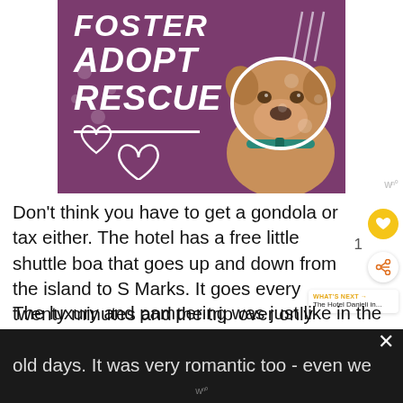[Figure (illustration): Purple promotional image with bold white italic text reading FOSTER ADOPT RESCUE, white heart outlines, white slash decorations, and a photo of a tan/brown pit bull dog with a teal collar]
Don't think you have to get a gondola or tax either. The hotel has a free little shuttle boa that goes up and down from the island to S Marks. It goes every twenty minutes and the trip over only takes ten minutes.
The luxury and pampering was just like in the old days. It was very romantic too - even we